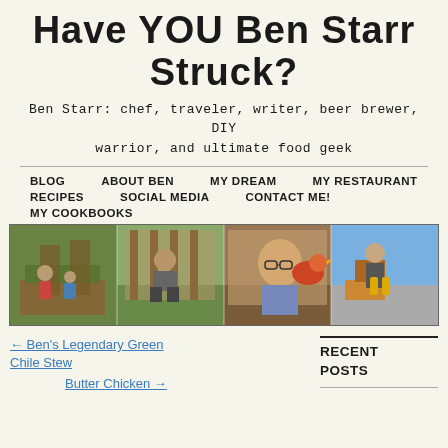Have YOU Ben Starr Struck?
Ben Starr: chef, traveler, writer, beer brewer, DIY warrior, and ultimate food geek
BLOG
ABOUT BEN
MY DREAM
MY RESTAURANT
RECIPES
SOCIAL MEDIA
CONTACT ME!
MY COOKBOOKS
[Figure (photo): A horizontal photo strip showing four panels: people gardening with raised beds, a person crouching outdoors, a man with a chicken near his face, a person working outdoors, and a man holding two large zucchinis.]
← Ben's Legendary Green Chile Stew
Butter Chicken →
RECENT POSTS